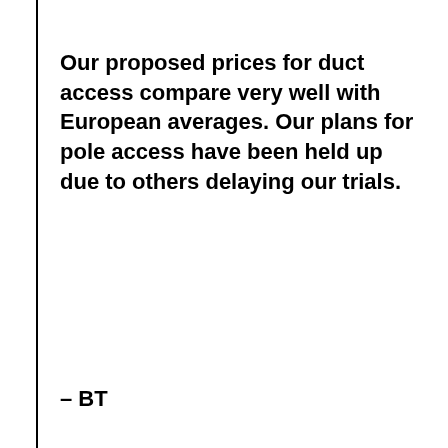Our proposed prices for duct access compare very well with European averages. Our plans for pole access have been held up due to others delaying our trials.
– BT